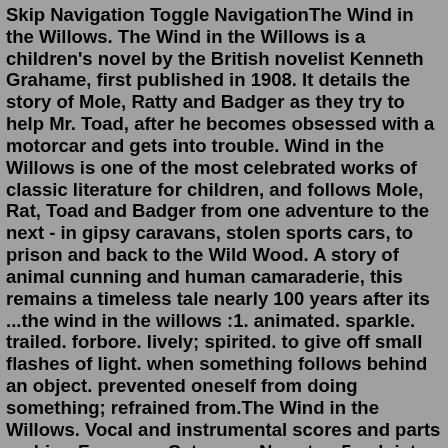Skip Navigation Toggle NavigationThe Wind in the Willows. The Wind in the Willows is a children's novel by the British novelist Kenneth Grahame, first published in 1908. It details the story of Mole, Ratty and Badger as they try to help Mr. Toad, after he becomes obsessed with a motorcar and gets into trouble. Wind in the Willows is one of the most celebrated works of classic literature for children, and follows Mole, Rat, Toad and Badger from one adventure to the next - in gipsy caravans, stolen sports cars, to prison and back to the Wild Wood. A story of animal cunning and human camaraderie, this remains a timeless tale nearly 100 years after its ...the wind in the willows :1. animated. sparkle. trailed. forbore. lively; spirited. to give off small flashes of light. when something follows behind an object. prevented oneself from doing something; refrained from.The Wind in the Willows. Vocal and instrumental scores and parts on hire. Forces or Category: Narrator, 5 soloists, SATB & chamber orchestra. Orchestration: fl, ob, perc (dr kit, timp,